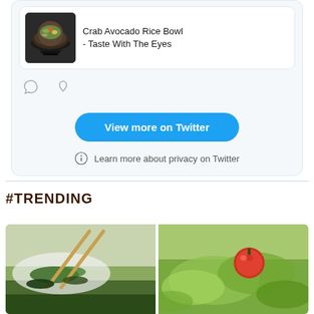[Figure (screenshot): Twitter embed widget showing a tweet card with a food image (Crab Avocado Rice Bowl), tweet text, like/comment icons, a 'View more on Twitter' blue button, and a privacy info link]
Crab Avocado Rice Bowl - Taste With The Eyes
View more on Twitter
Learn more about privacy on Twitter
#TRENDING
[Figure (photo): Two food photos side by side: left shows chopsticks with green vegetables, right shows a salad with tomato and greens]